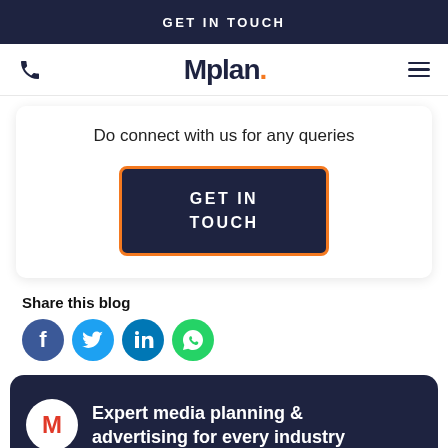GET IN TOUCH
[Figure (logo): Mplan. logo with phone icon and hamburger menu in navigation bar]
Do connect with us for any queries
GET IN TOUCH
Share this blog
[Figure (illustration): Social media share icons: Facebook, Twitter, LinkedIn, WhatsApp]
Expert media planning & advertising for every industry